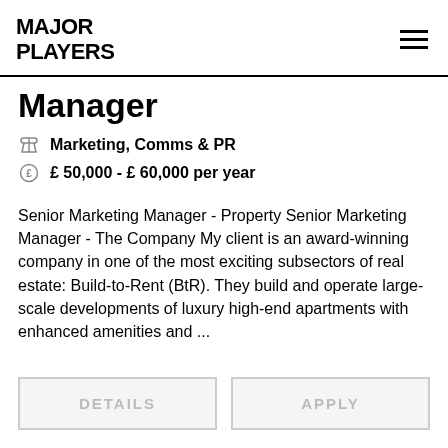MAJOR PLAYERS
Manager
Marketing, Comms & PR
£ 50,000 - £ 60,000 per year
Senior Marketing Manager - Property Senior Marketing Manager - The Company My client is an award-winning company in one of the most exciting subsectors of real estate: Build-to-Rent (BtR). They build and operate large-scale developments of luxury high-end apartments with enhanced amenities and ...